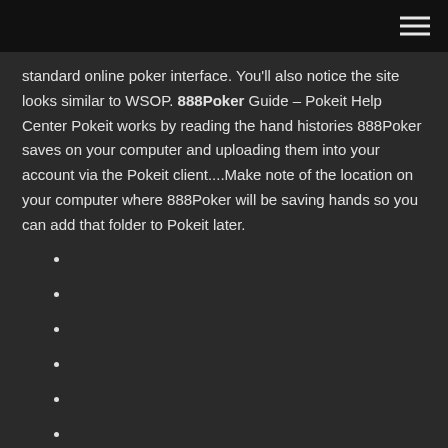standard online poker interface. You’ll also notice the site looks similar to WSOP. 888Poker Guide – Pokeit Help Center Pokeit works by reading the hand histories 888Poker saves on your computer and uploading them into your account via the Pokeit client....Make note of the location on your computer where 888Poker will be saving hands so you can add that folder to Pokeit later.